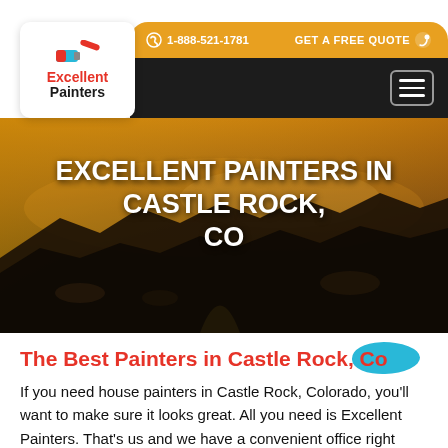[Figure (screenshot): Website header with Excellent Painters logo, gold navigation bar showing phone number 1-888-521-1781 and GET A FREE QUOTE link, dark navigation bar with hamburger menu icon, hero image of Castle Rock Colorado landscape at dusk with text EXCELLENT PAINTERS IN CASTLE ROCK, CO]
The Best Painters in Castle Rock, Co
If you need house painters in Castle Rock, Colorado, you'll want to make sure it looks great. All you need is Excellent Painters. That's us and we have a convenient office right here in town. Whether you live in a tiny condo down by the Walmart or a sprawling estate out by the Plum Creek Golf Club, our Castle Rock Painters are experts who can paint your house